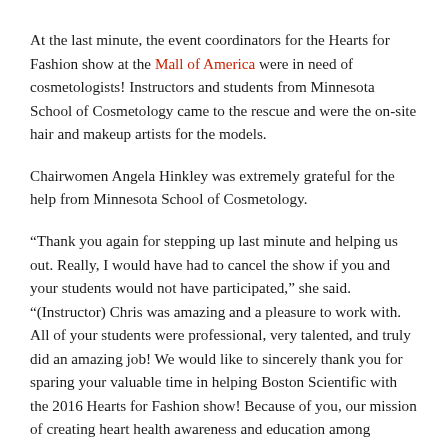At the last minute, the event coordinators for the Hearts for Fashion show at the Mall of America were in need of cosmetologists! Instructors and students from Minnesota School of Cosmetology came to the rescue and were the on-site hair and makeup artists for the models.
Chairwomen Angela Hinkley was extremely grateful for the help from Minnesota School of Cosmetology.
“Thank you again for stepping up last minute and helping us out. Really, I would have had to cancel the show if you and your students would not have participated,” she said. “(Instructor) Chris was amazing and a pleasure to work with. All of your students were professional, very talented, and truly did an amazing job! We would like to sincerely thank you for sparing your valuable time in helping Boston Scientific with the 2016 Hearts for Fashion show! Because of you, our mission of creating heart health awareness and education among women